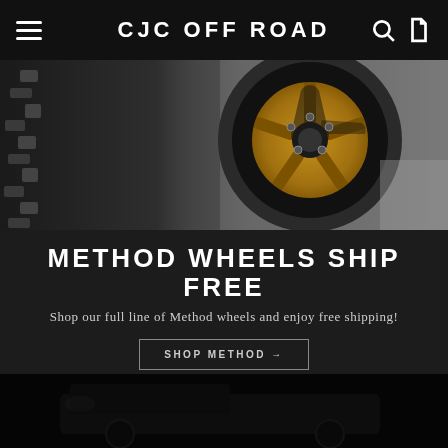CJC OFF ROAD
[Figure (photo): Close-up of an off-road wheel with gold/bronze spokes and thick mud terrain tire on gravel background]
METHOD WHEELS SHIP FREE
Shop our full line of Method wheels and enjoy free shipping!
SHOP METHOD →
[Figure (photo): Dark image of an off-road truck/SUV from a low angle in dim lighting]